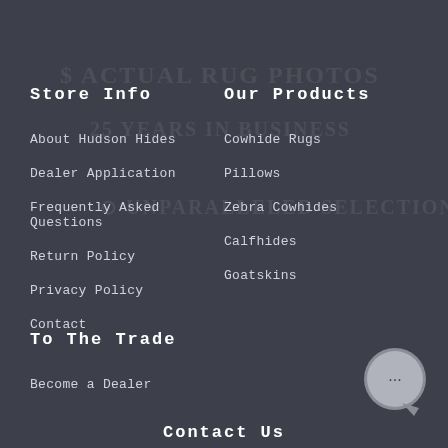Store Info
About Hudson Hides
Dealer Application
Frequently Asked Questions
Return Policy
Privacy Policy
Contact
Our Products
Cowhide Rugs
Pillows
Zebra Cowhides
Calfhides
Goatskins
To The Trade
Become a Dealer
Contact Us